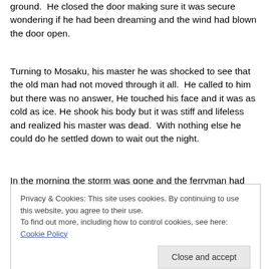ground.  He closed the door making sure it was secure wondering if he had been dreaming and the wind had blown the door open.
Turning to Mosaku, his master he was shocked to see that the old man had not moved through it all.  He called to him but there was no answer, He touched his face and it was as cold as ice. He shook his body but it was stiff and lifeless and realized his master was dead.  With nothing else he could do he settled down to wait out the night.
In the morning the storm was gone and the ferryman had
Privacy & Cookies: This site uses cookies. By continuing to use this website, you agree to their use.
To find out more, including how to control cookies, see here: Cookie Policy
Close and accept